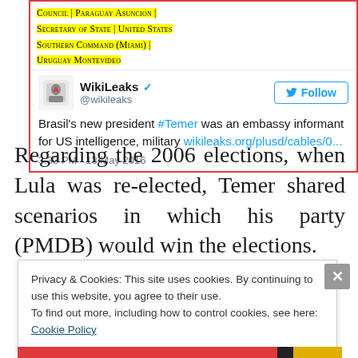[Figure (screenshot): WikiLeaks tweet screenshot with highlighted tags: COUNCIL | PARAGUAY ASUNCION | SECRETARY OF STATE | UNITED STATES SOUTHERN COMMAND (MIAMI) | URUGUAY MONTEVIDEO. Tweet by @wikileaks: Brasil's new president #Temer was an embassy informant for US intelligence, military wikileaks.org/plusd/cables/0... 3:33 PM - 13 May 2016]
Regarding the 2006 elections, when Lula was re-elected, Temer shared scenarios in which his party (PMDB) would win the elections.
Privacy & Cookies: This site uses cookies. By continuing to use this website, you agree to their use.
To find out more, including how to control cookies, see here: Cookie Policy